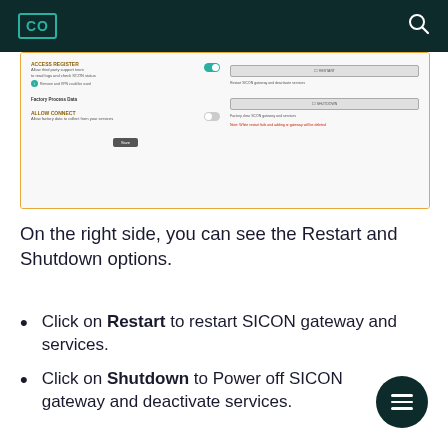CO [logo]
[Figure (screenshot): Screenshot of a gateway settings interface showing Access Register and Service Connect toggles, Factory Process Data section, and Restart/Shutdown buttons on the right side.]
On the right side, you can see the Restart and Shutdown options.
Click on Restart to restart SICON gateway and services.
Click on Shutdown to Power off SICON gateway and deactivate services.